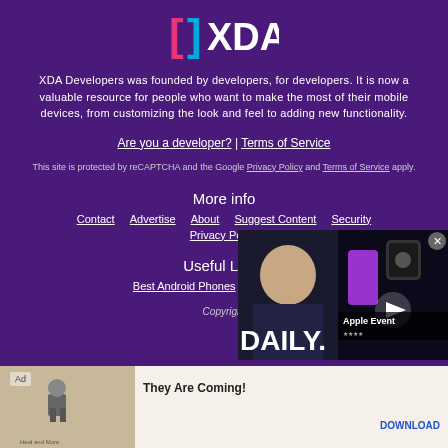[Figure (logo): XDA Developers logo with colorful bracket and XDA text in white]
XDA Developers was founded by developers, for developers. It is now a valuable resource for people who want to make the most of their mobile devices, from customizing the look and feel to adding new functionality.
Are you a developer? | Terms of Service
This site is protected by reCAPTCHA and the Google Privacy Policy and Terms of Service apply.
More info
Contact   Advertise   About   Suggest Content   Security
Privacy Policy
Useful Links
Best Android Phones   How to Root
Copyright
[Figure (screenshot): Video overlay showing a person with Apple Event branding and DAILY text, with a play button]
[Figure (screenshot): Ad bar at bottom: They Are Coming! game advertisement with DOWNLOAD button]